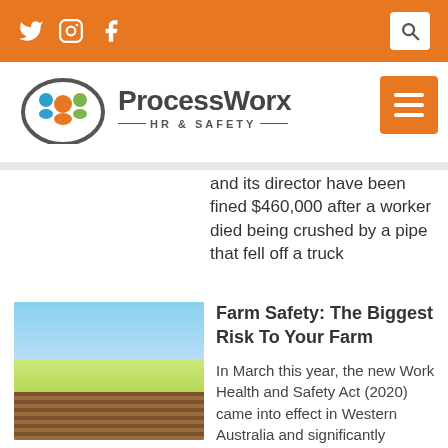ProcessWorx HR & SAFETY — social icons and search bar
[Figure (logo): ProcessWorx HR & Safety logo with colorful circular people icon and company name]
and its director have been fined $460,000 after a worker died being crushed by a pipe that fell off a truck
[Figure (photo): Farm field with yellow canola crops under a blue sky with dirt furrows]
Farm Safety: The Biggest Risk To Your Farm
In March this year, the new Work Health and Safety Act (2020) came into effect in Western Australia and significantly changed the way that farms